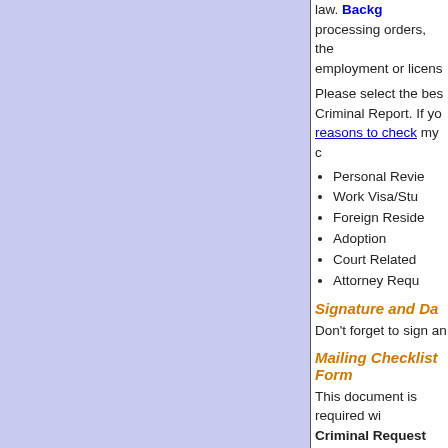[Figure (other): Left blue/lavender panel background column]
law. National Backg processing orders, the employment or licens
Please select the bes Criminal Report. If yo reasons to check my c
Personal Revie
Work Visa/Stu
Foreign Reside
Adoption
Court Related
Attorney Requ
Signature and Da
Don't forget to sign an
Mailing Checklist Form
This document is required wi Criminal Request form. The the information on your FBI C that the fingerprint card(s) yo
Affidavit Stateme
Don't forget to sign an of this form.